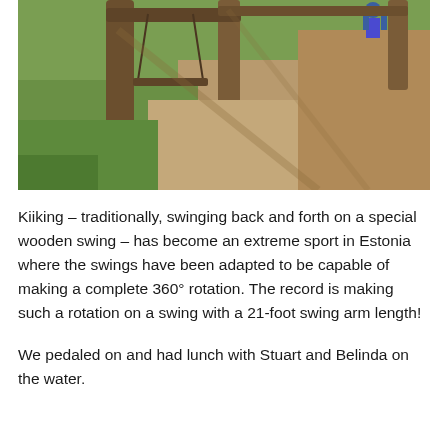[Figure (photo): Outdoor playground with wooden swing structure (kiiking swing), showing wooden log poles, sandy ground, and green grass in sunlight. A person is visible at top right on the swing.]
Kiiking – traditionally, swinging back and forth on a special wooden swing – has become an extreme sport in Estonia where the swings have been adapted to be capable of making a complete 360° rotation. The record is making such a rotation on a swing with a 21-foot swing arm length!
We pedaled on and had lunch with Stuart and Belinda on the water.